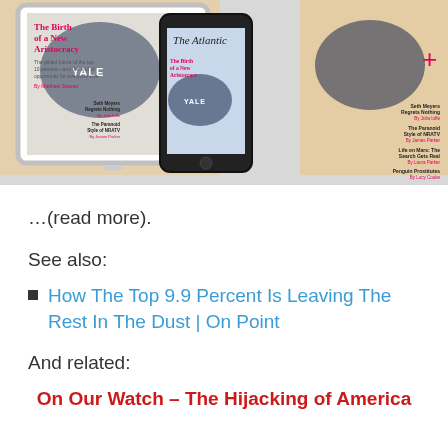[Figure (photo): The Atlantic magazine cover showing babies in Yale onesies displayed on a tablet and smartphone, titled 'The Birth of a New Aristocracy' by Matthew Stewart]
…(read more).
See also:
How The Top 9.9 Percent Is Leaving The Rest In The Dust | On Point
And related:
On Our Watch – The Hijacking of America